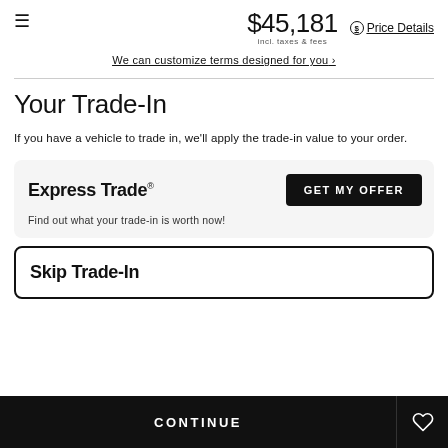$45,181 incl. taxes & fees — Price Details
We can customize terms designed for you ›
Your Trade-In
If you have a vehicle to trade in, we'll apply the trade-in value to your order.
Express Trade® — GET MY OFFER — Find out what your trade-in is worth now!
Skip Trade-In
CONTINUE